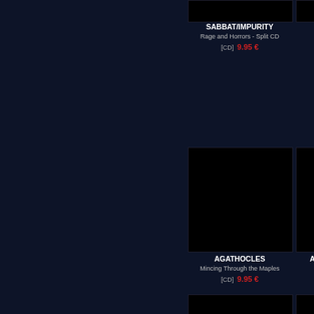[Figure (other): Black album cover image for SABBAT/IMPURITY]
SABBAT/IMPURITY
Rage and Horrors - Split CD
[CD]  9.95 €
[Figure (other): Black album cover image for SABBAT Envenom]
SABBAT
Envenom
[CD]  11.95
[Figure (other): Black album cover image for AGATHOCLES Mincing Through the Maples]
AGATHOCLES
Mincing Through the Maples
[CD]  9.95 €
[Figure (other): Black album cover image for AGATHOCLES/RE HUMANOS Restos Agathos Split]
AGATHOCLES/RE HUMANOS
Restos Agathos - S
[7" EP]  5.95
[Figure (other): Black album cover image for AGATHOCLES/UNTAMED Split CD]
AGATHOCLES/UNTAMED
Split CD
[CD]  8.95 €
[Figure (other): Black album cover image for AGATHOCLES Peel Sessions]
AGATHOCLES
Peel Sessions 1
[CD]  8.95